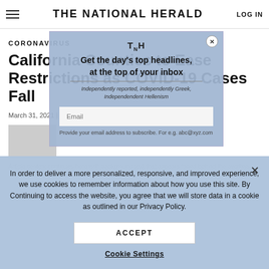THE NATIONAL HERALD | LOG IN
CORONAVIRUS
California Counties to Ease Restrictions as COVID-19 Cases Fall
March 31, 2021 | By Associated Press
TNH
Get the day's top headlines, at the top of your inbox
Independently reported, independently Greek, Independendent Hellenism
Email
Provide your email address to subscribe. For e.g. abc@xyz.com
In order to deliver a more personalized, responsive, and improved experience, we use cookies to remember information about how you use this site. By Continuing to access the website, you agree that we will store data in a cookie as outlined in our Privacy Policy.
ACCEPT
Cookie Settings